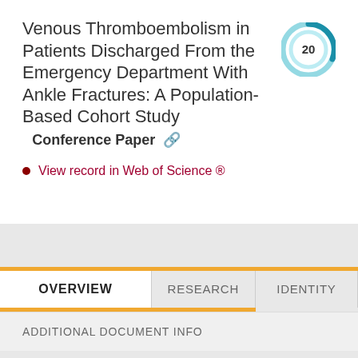Venous Thromboembolism in Patients Discharged From the Emergency Department With Ankle Fractures: A Population-Based Cohort Study   Conference Paper
View record in Web of Science ®
OVERVIEW   RESEARCH   IDENTITY
ADDITIONAL DOCUMENT INFO